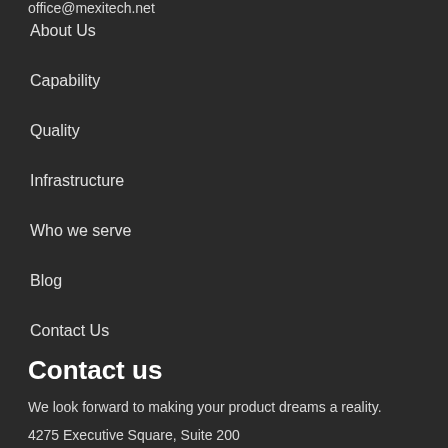About Us
Capability
Quality
Infrastructure
Who we serve
Blog
Contact Us
Contact us
We look forward to making your product dreams a reality.
4275 Executive Square, Suite 200
La Jolla, CA 92037
office@mexitech.net